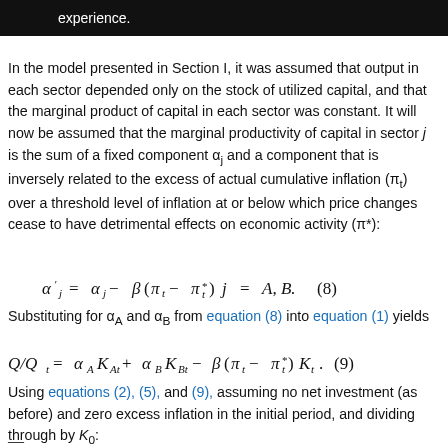to the experience. er allocation of financial resources.
In the model presented in Section I, it was assumed that output in each sector depended only on the stock of utilized capital, and that the marginal product of capital in each sector was constant. It will now be assumed that the marginal productivity of capital in sector j is the sum of a fixed component α_j and a component that is inversely related to the excess of actual cumulative inflation (π_t) over a threshold level of inflation at or below which price changes cease to have detrimental effects on economic activity (π*):
Substituting for α_A and α_B from equation (8) into equation (1) yields
Using equations (2), (5), and (9), assuming no net investment (as before) and zero excess inflation in the initial period, and dividing through by K_0: